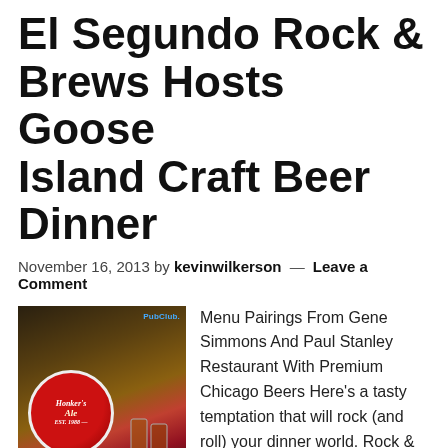El Segundo Rock & Brews Hosts Goose Island Craft Beer Dinner
November 16, 2013 by kevinwilkerson — Leave a Comment
[Figure (photo): Photo of food and beer glasses on a table with a Honker's Ale coaster/sign, watermark PubClub visible in top right corner]
Menu Pairings From Gene Simmons And Paul Stanley Restaurant With Premium Chicago Beers Here's a tasty temptation that will rock (and roll) your dinner world. Rock & Brews in El Segundo, CA – the original of the Gene Simmons, Paul Stanley and Zislis Group rock-themed restaurants – is hosting a dinner featuring items from its menu specifically selected to be